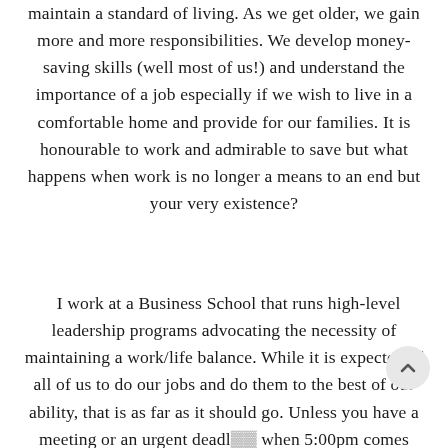maintain a standard of living. As we get older, we gain more and more responsibilities. We develop money-saving skills (well most of us!) and understand the importance of a job especially if we wish to live in a comfortable home and provide for our families. It is honourable to work and admirable to save but what happens when work is no longer a means to an end but your very existence?
I work at a Business School that runs high-level leadership programs advocating the necessity of maintaining a work/life balance. While it is expected of all of us to do our jobs and do them to the best of our ability, that is as far as it should go. Unless you have a meeting or an urgent deadl… when 5:00pm comes around, switch the compu… off and go home. Be with your loved ones. Forget…